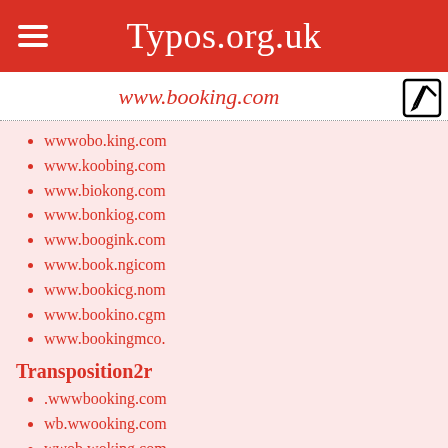Typos.org.uk
www.booking.com
wwwobo.king.com
www.koobing.com
www.biokong.com
www.bonkiog.com
www.boogink.com
www.book.ngicom
www.bookicg.nom
www.bookino.cgm
www.bookingmco.
Transposition2r
.wwwbooking.com
wb.wwooking.com
wwob.woking.com
wwwoob.king.com
www.koobing.com
www.bikoong.com
www.bonikog.com